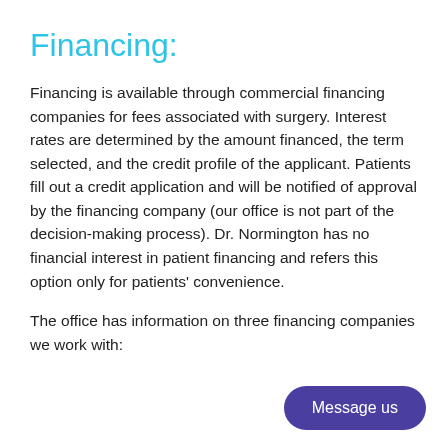Financing:
Financing is available through commercial financing companies for fees associated with surgery. Interest rates are determined by the amount financed, the term selected, and the credit profile of the applicant. Patients fill out a credit application and will be notified of approval by the financing company (our office is not part of the decision-making process). Dr. Normington has no financial interest in patient financing and refers this option only for patients' convenience.
The office has information on three financing companies we work with:
Message us